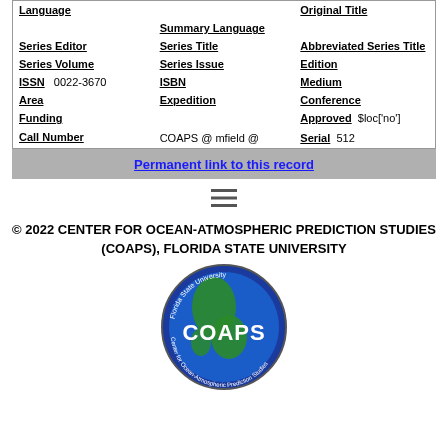| Language |  | Original Title |
|  | Summary Language |  |
| Series Editor | Series Title | Abbreviated Series Title |
| Series Volume | Series Issue | Edition |
| ISSN | 0022-3670  ISBN | Medium |
| Area | Expedition | Conference |
| Funding |  | Approved  $loc['no'] |
| Call Number | COAPS @ mfield @ | Serial  512 |
Permanent link to this record
[Figure (other): Menu icon (three horizontal lines)]
© 2022 CENTER FOR OCEAN-ATMOSPHERIC PREDICTION STUDIES (COAPS), FLORIDA STATE UNIVERSITY
[Figure (logo): COAPS Florida State University circular logo]